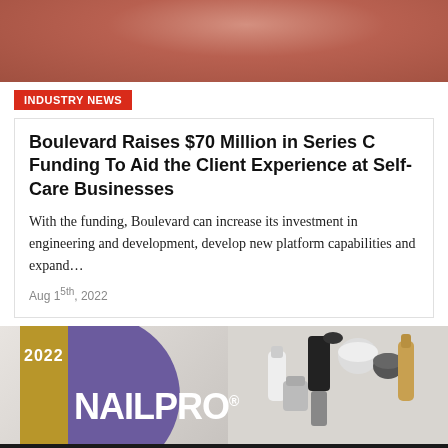[Figure (photo): Top portion of a person's face/neck, warm skin tone, cropped tightly]
INDUSTRY NEWS
Boulevard Raises $70 Million in Series C Funding To Aid the Client Experience at Self-Care Businesses
With the funding, Boulevard can increase its investment in engineering and development, develop new platform capabilities and expand…
Aug 15th, 2022
[Figure (advertisement): 2022 NAILPRO advertisement banner with purple circle, gold bar, NAILPRO logo text, and cosmetic products on the right]
Contact Us   Editorial Submission   Advertise   Privacy Policy   Legal Terms   Site Map